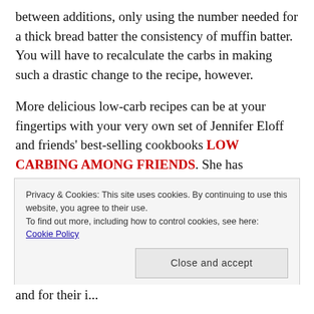between additions, only using the number needed for a thick bread batter the consistency of muffin batter. You will have to recalculate the carbs in making such a drastic change to the recipe, however.
More delicious low-carb recipes can be at your fingertips with your very own set of Jennifer Eloff and friends' best-selling cookbooks LOW CARBING AMONG FRIENDS. She has
Privacy & Cookies: This site uses cookies. By continuing to use this website, you agree to their use.
To find out more, including how to control cookies, see here: Cookie Policy
Close and accept